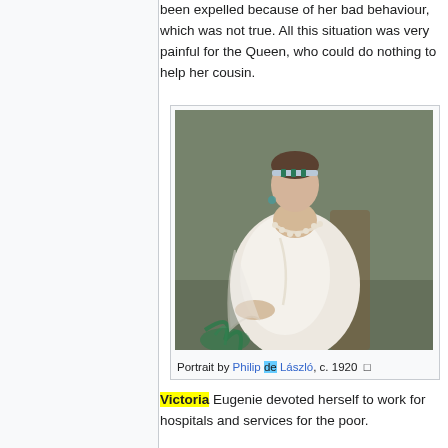been expelled because of her bad behaviour, which was not true. All this situation was very painful for the Queen, who could do nothing to help her cousin.
[Figure (photo): Portrait painting of a woman in a white dress with pearl necklace and jewelled headband, seated, painted by Philip de László, c. 1920]
Portrait by Philip de László, c. 1920
Victoria Eugenie devoted herself to work for hospitals and services for the poor.